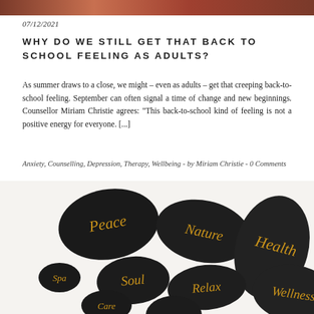07/12/2021
WHY DO WE STILL GET THAT BACK TO SCHOOL FEELING AS ADULTS?
As summer draws to a close, we might – even as adults – get that creeping back-to-school feeling. September can often signal a time of change and new beginnings. Counsellor Miriam Christie agrees: “This back-to-school kind of feeling is not a positive energy for everyone. [...]
Anxiety, Counselling, Depression, Therapy, Wellbeing  -  by Miriam Christie  -  0 Comments
[Figure (photo): Black zen stones with gold script words: Peace, Nature, Health, Soul, Spa, Relax, Wellness, Care, and others arranged on a white background]